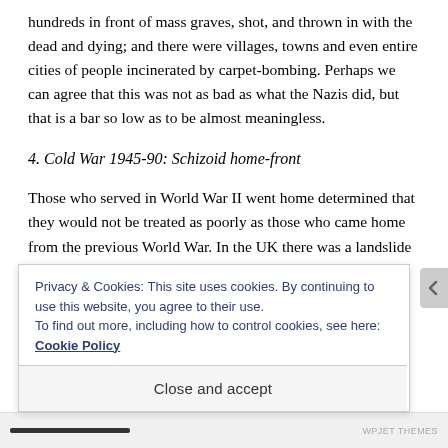hundreds in front of mass graves, shot, and thrown in with the dead and dying; and there were villages, towns and even entire cities of people incinerated by carpet-bombing. Perhaps we can agree that this was not as bad as what the Nazis did, but that is a bar so low as to be almost meaningless.
4. Cold War 1945-90: Schizoid home-front
Those who served in World War II went home determined that they would not be treated as poorly as those who came home from the previous World War. In the UK there was a landslide victory for Labour just 2 months after VE Day.
Privacy & Cookies: This site uses cookies. By continuing to use this website, you agree to their use.
To find out more, including how to control cookies, see here: Cookie Policy
Close and accept